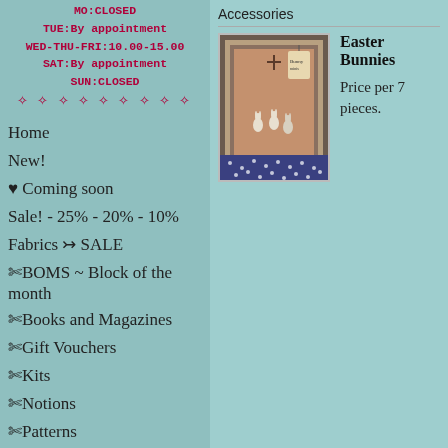MO:CLOSED
TUE:By appointment
WED-THU-FRI:10.00-15.00
SAT:By appointment
SUN:CLOSED
❧ ❧ ❧ ❧ ❧ ❧ ❧ ❧ ❧
Home
New!
♥ Coming soon
Sale! - 25% - 20% - 10%
Fabrics ↣ SALE
✄BOMS ~ Block of the month
✄Books and Magazines
✄Gift Vouchers
✄Kits
✄Notions
✄Patterns
Quilting Clear Stamps
Accessories
[Figure (photo): Easter Bunnies figurines arranged in a decorative frame with pink/mauve background]
Easter Bunnies
Price per 7 pieces.